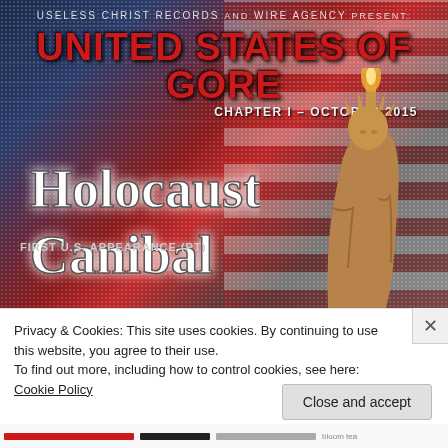[Figure (photo): Concert/event promotional poster for 'United States of Gore, Chapter I - October 2015' presented by Useless Christ Records and Wire Agency, featuring the band Holocaust Cannibal with 'First U.S. Appearance (PT)' text, set against a distressed American flag background with the Statue of Liberty.]
Privacy & Cookies: This site uses cookies. By continuing to use this website, you agree to their use.
To find out more, including how to control cookies, see here: Cookie Policy
Close and accept